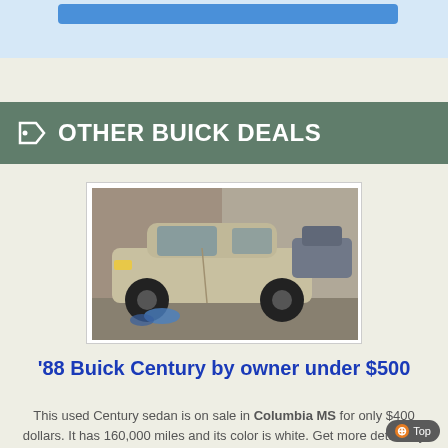OTHER BUICK DEALS
[Figure (photo): Photo of a white/tan 1988 Buick Century sedan parked outdoors near a building, with some blue items visible near the front wheel]
'88 Buick Century by owner under $500
This used Century sedan is on sale in Columbia MS for only $400 dollars. It has 160,000 miles and its color is white. Get more details by calling at 769-248-0659 or